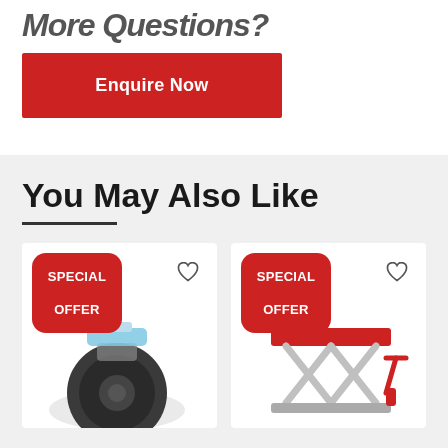More Questions?
Enquire Now
You May Also Like
[Figure (photo): Product card with SPECIAL OFFER badge and heart icon showing a caster wheel product]
[Figure (photo): Product card with SPECIAL OFFER badge and heart icon showing a scissor lift table product]